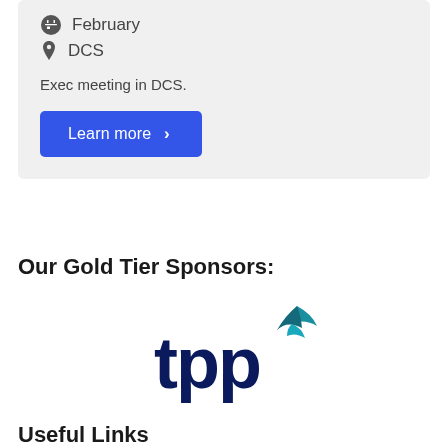February
DCS
Exec meeting in DCS.
Learn more ›
Our Gold Tier Sponsors:
[Figure (logo): TPP logo — dark navy 'tpp' lettering with a teal bird/swoosh mark above the right side]
Useful Links